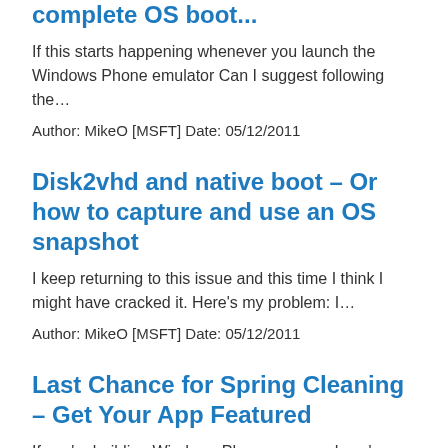complete OS boot...
If this starts happening whenever you launch the Windows Phone emulator Can I suggest following the...
Author: MikeO [MSFT] Date: 05/12/2011
Disk2vhd and native boot – Or how to capture and use an OS snapshot
I keep returning to this issue and this time I think I might have cracked it. Here's my problem: I...
Author: MikeO [MSFT] Date: 05/12/2011
Last Chance for Spring Cleaning – Get Your App Featured
If you're building Windows Phone apps and you've not...